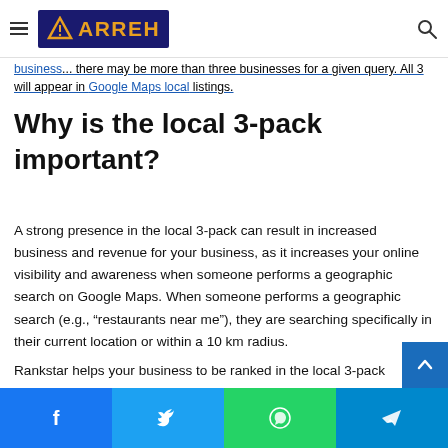ARREH (logo navigation bar)
business... there may be more than three businesses for a given query. All 3 will appear in Google Maps local listings.
Why is the local 3-pack important?
A strong presence in the local 3-pack can result in increased business and revenue for your business, as it increases your online visibility and awareness when someone performs a geographic search on Google Maps. When someone performs a geographic search (e.g., “restaurants near me”), they are searching specifically in their current location or within a 10 km radius.
Rankstar helps your business to be ranked in the local 3-pack
Facebook | Twitter | WhatsApp | Telegram